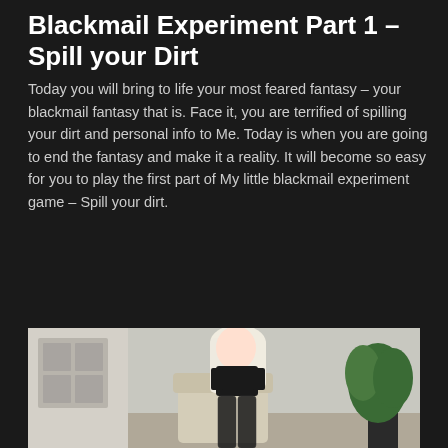Blackmail Experiment Part 1 – Spill your Dirt
Today you will bring to life your most feared fantasy – your blackmail fantasy that is. Face it, you are terrified of spilling your dirt and personal info to Me. Today is when you are going to end the fantasy and make it a reality. It will become so easy for you to play the first part of My little blackmail experiment game – Spill your dirt.
Read more
[Figure (photo): Woman with long platinum blonde hair wearing black lingerie and lace stockings, seated in a white chair in a room with a door and potted plant]